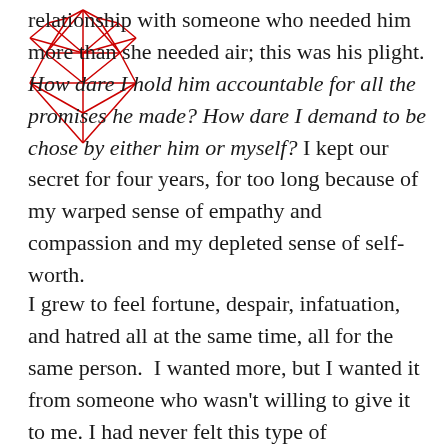[Figure (illustration): Red geometric diamond/heart wireframe logo drawn with triangular facets]
relationship with someone who needed him more than she needed air; this was his plight. How dare I hold him accountable for all the promises he made? How dare I demand to be chose by either him or myself? I kept our secret for four years, for too long because of my warped sense of empathy and compassion and my depleted sense of self-worth.
I grew to feel fortune, despair, infatuation, and hatred all at the same time, all for the same person.  I wanted more, but I wanted it from someone who wasn't willing to give it to me. I had never felt this type of connection, or this type of